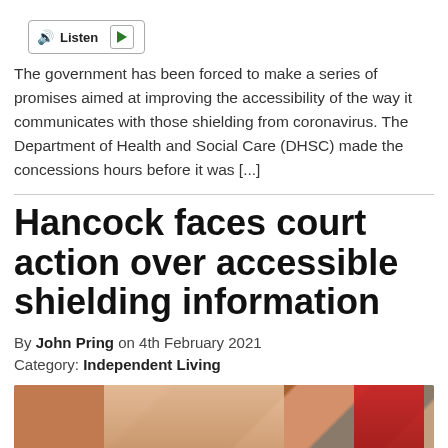[Figure (other): Listen audio player button with speaker icon and play button]
The government has been forced to make a series of promises aimed at improving the accessibility of the way it communicates with those shielding from coronavirus. The Department of Health and Social Care (DHSC) made the concessions hours before it was [...]
Hancock faces court action over accessible shielding information
By John Pring on 4th February 2021
Category: Independent Living
[Figure (photo): Photo of a woman smiling outdoors near a red postbox and brick wall]